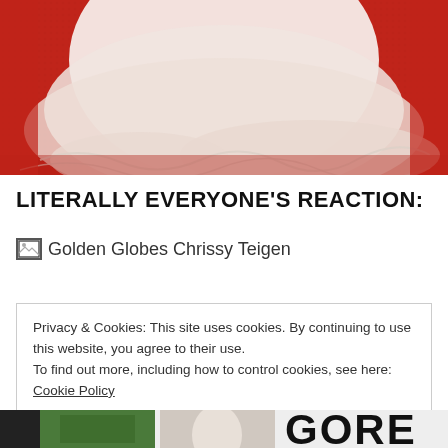[Figure (photo): Bottom portion of a person in a white/cream flowing tulle gown standing on a red carpet background]
LITERALLY EVERYONE'S REACTION:
[Figure (photo): Broken image placeholder with alt text 'Golden Globes Chrissy Teigen']
Privacy & Cookies: This site uses cookies. By continuing to use this website, you agree to their use.
To find out more, including how to control cookies, see here: Cookie Policy
[Figure (photo): Partial bottom strip showing thumbnail images and partial text 'GORE']